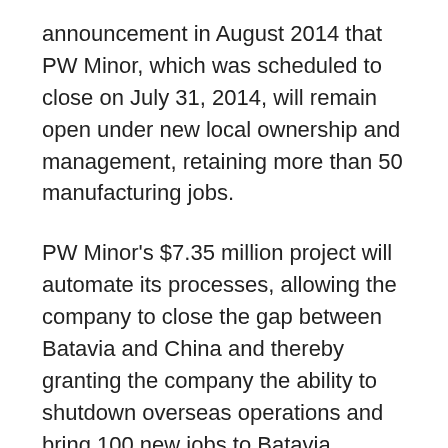announcement in August 2014 that PW Minor, which was scheduled to close on July 31, 2014, will remain open under new local ownership and management, retaining more than 50 manufacturing jobs.
PW Minor's $7.35 million project will automate its processes, allowing the company to close the gap between Batavia and China and thereby granting the company the ability to shutdown overseas operations and bring 100 new jobs to Batavia. Empire State Development (ESD) will provide up to $1.75 million in performance-based Excelsior Jobs Program tax credits in return for job creation commitments. This is in addition to the previously awarded $449,505 in 2014. If ESD did not incentivize this project, the company would not be